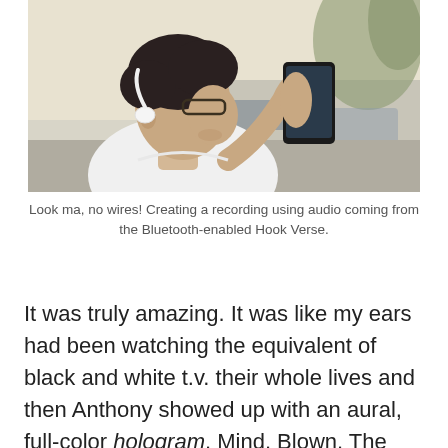[Figure (photo): A young man with dark hair and glasses wearing a white t-shirt, viewed from the side, holding a smartphone up with his right hand. He is wearing white Bluetooth bone-conduction headphones. Background shows a blurred outdoor street scene with cars and trees.]
Look ma, no wires! Creating a recording using audio coming from the Bluetooth-enabled Hook Verse.
It was truly amazing. It was like my ears had been watching the equivalent of black and white t.v. their whole lives and then Anthony showed up with an aural, full-color hologram. Mind. Blown. The extra dimension